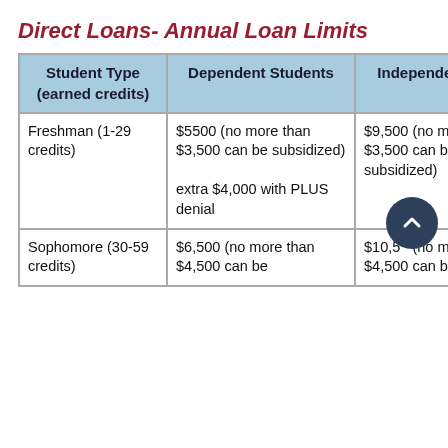Direct Loans- Annual Loan Limits
| Student Type (earned credits) | Dependent Students | Independent Students |
| --- | --- | --- |
| Freshman (1-29 credits) | $5500 (no more than $3,500 can be subsidized)
extra $4,000 with PLUS denial | $9,500 (no more than $3,500 can be subsidized) |
| Sophomore (30-59 credits) | $6,500 (no more than $4,500 can be | $10,500 (no more than $4,500 can be |